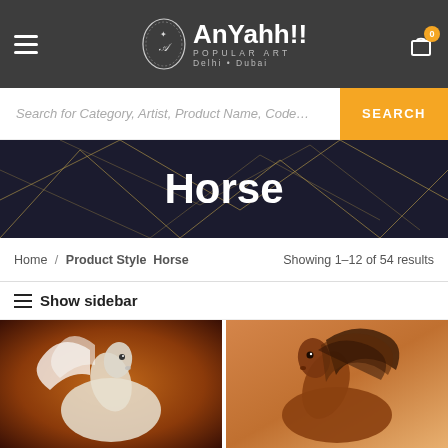AnYahh!! POPULAR ART Delhi • Dubai
Search for Category, Artist, Product Name, Code…
Horse
Home / Product Style Horse  Showing 1–12 of 54 results
≡ Show sidebar
[Figure (photo): Painting of a white horse with flowing mane on a dark brown/orange background]
[Figure (photo): Painting of a brown horse with flowing mane in warm tones]